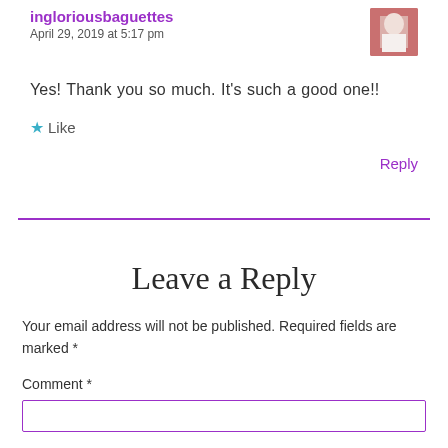ingloriousbaguettes
April 29, 2019 at 5:17 pm
[Figure (photo): Avatar photo of user ingloriousbaguettes]
Yes! Thank you so much. It's such a good one!!
★ Like
Reply
Leave a Reply
Your email address will not be published. Required fields are marked *
Comment *